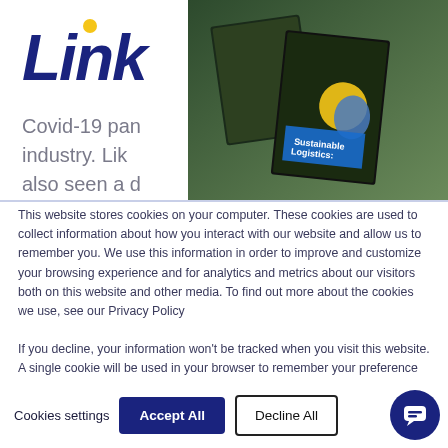[Figure (logo): Linker company logo with dark blue italic text and yellow dot]
[Figure (photo): Two books shown at an angle, one titled Sustainable Logistics, against a dark green/nature background]
Covid-19 pan... industry. Lik... also seen a d...
This website stores cookies on your computer. These cookies are used to collect information about how you interact with our website and allow us to remember you. We use this information in order to improve and customize your browsing experience and for analytics and metrics about our visitors both on this website and other media. To find out more about the cookies we use, see our Privacy Policy
If you decline, your information won't be tracked when you visit this website. A single cookie will be used in your browser to remember your preference not to be tracked.
Cookies settings
Accept All
Decline All